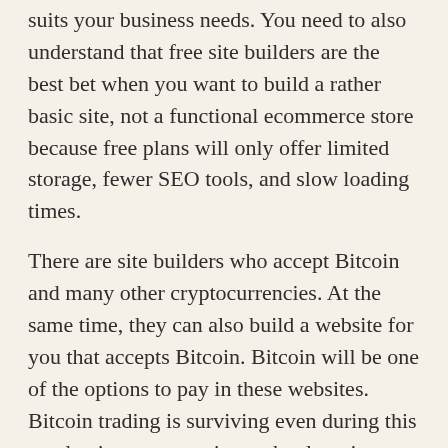suits your business needs. You need to also understand that free site builders are the best bet when you want to build a rather basic site, not a functional ecommerce store because free plans will only offer limited storage, fewer SEO tools, and slow loading times.
There are site builders who accept Bitcoin and many other cryptocurrencies. At the same time, they can also build a website for you that accepts Bitcoin. Bitcoin will be one of the options to pay in these websites. Bitcoin trading is surviving even during this pandemic as automation technology is drawing a huge number of young traders towards it. Bitcoin revolution app is one